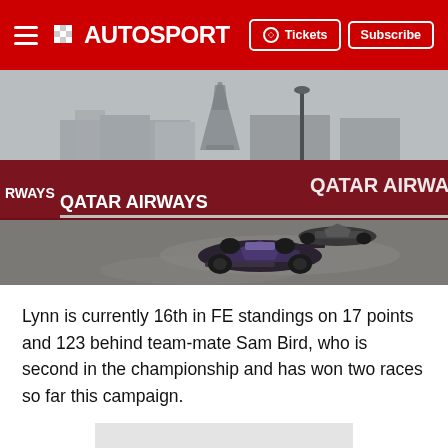AUTOSPORT
[Figure (photo): Formula E racing cars on a street circuit in Paris with the Eiffel Tower in the background and Qatar Airways advertising boards visible.]
Lynn is currently 16th in FE standings on 17 points and 123 behind team-mate Sam Bird, who is second in the championship and has won two races so far this campaign.
[Figure (other): Partial grey placeholder image at the bottom of the page.]